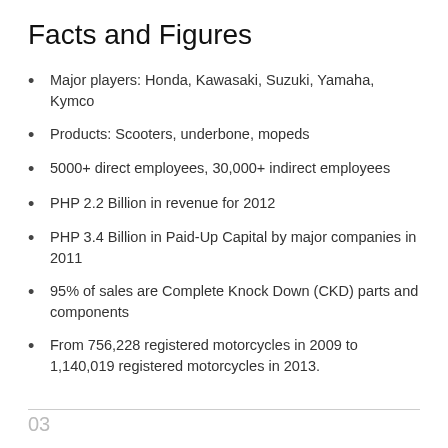Facts and Figures
Major players: Honda, Kawasaki, Suzuki, Yamaha, Kymco
Products: Scooters, underbone, mopeds
5000+ direct employees, 30,000+ indirect employees
PHP 2.2 Billion in revenue for 2012
PHP 3.4 Billion in Paid-Up Capital by major companies in 2011
95% of sales are Complete Knock Down (CKD) parts and components
From 756,228 registered motorcycles in 2009 to 1,140,019 registered motorcycles in 2013.
03